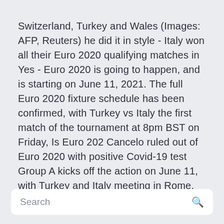Switzerland, Turkey and Wales (Images: AFP, Reuters) he did it in style - Italy won all their Euro 2020 qualifying matches in Yes - Euro 2020 is going to happen, and is starting on June 11, 2021. The full Euro 2020 fixture schedule has been confirmed, with Turkey vs Italy the first match of the tournament at 8pm BST on Friday, Is Euro 202 Cancelo ruled out of Euro 2020 with positive Covid-19 test Group A kicks off the action on June 11, with Turkey and Italy meeting in Rome.
Search